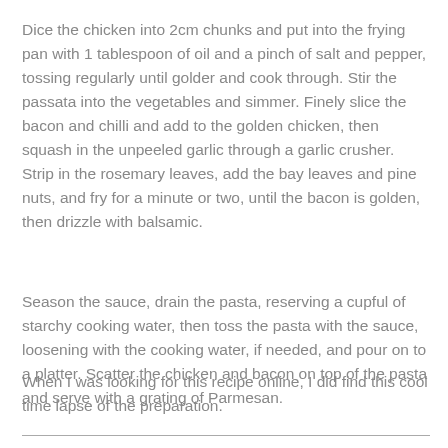Dice the chicken into 2cm chunks and put into the frying pan with 1 tablespoon of oil and a pinch of salt and pepper, tossing regularly until golder and cook through. Stir the passata into the vegetables and simmer. Finely slice the bacon and chilli and add to the golden chicken, then squash in the unpeeled garlic through a garlic crusher. Strip in the rosemary leaves, add the bay leaves and pine nuts, and fry for a minute or two, until the bacon is golden, then drizzle with balsamic.
Season the sauce, drain the pasta, reserving a cupful of starchy cooking water, then toss the pasta with the sauce, loosening with the cooking water, if needed, and pour on to a platter. Scatter the chicken and bacon on top of the pasta and serve with a grating of Parmesan.
When I was looking for this recipe online, I did find this cool time lapse of the preparation.